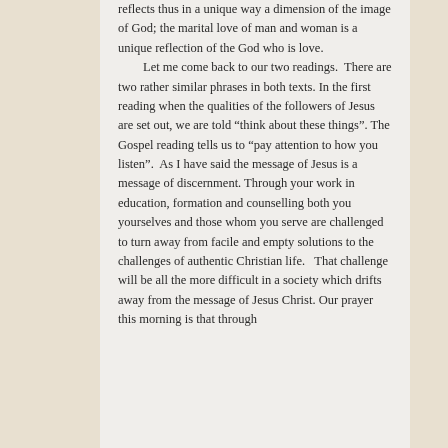reflects thus in a unique way a dimension of the image of God; the marital love of man and woman is a unique reflection of the God who is love. Let me come back to our two readings. There are two rather similar phrases in both texts. In the first reading when the qualities of the followers of Jesus are set out, we are told “think about these things”. The Gospel reading tells us to “pay attention to how you listen”. As I have said the message of Jesus is a message of discernment. Through your work in education, formation and counselling both you yourselves and those whom you serve are challenged to turn away from facile and empty solutions to the challenges of authentic Christian life. That challenge will be all the more difficult in a society which drifts away from the message of Jesus Christ. Our prayer this morning is that through